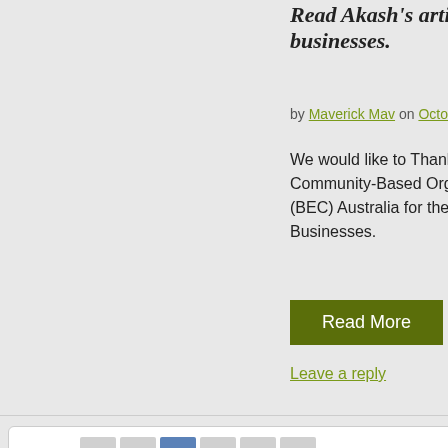Read Akash's article in businesses.
by Maverick Mav on October 2,
We would like to Thank Business Community-Based Organisations (BEC) Australia for their support Businesses.
Read More
Leave a reply
Pages: « 1 2 3 4 »
Search